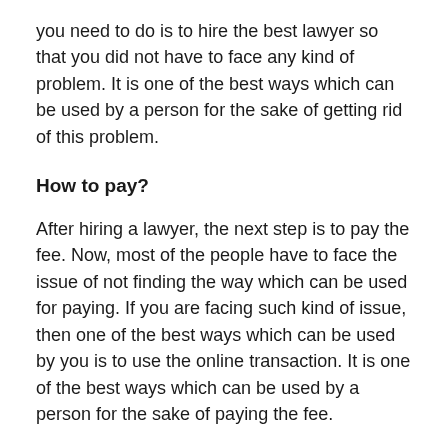you need to do is to hire the best lawyer so that you did not have to face any kind of problem. It is one of the best ways which can be used by a person for the sake of getting rid of this problem.
How to pay?
After hiring a lawyer, the next step is to pay the fee. Now, most of the people have to face the issue of not finding the way which can be used for paying. If you are facing such kind of issue, then one of the best ways which can be used by you is to use the online transaction. It is one of the best ways which can be used by a person for the sake of paying the fee.